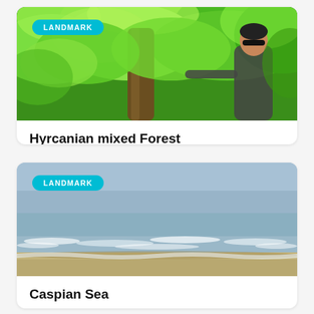[Figure (photo): Photo of Hyrcanian mixed forest with lush green trees and a person standing next to a large tree trunk, with a LANDMARK badge overlay]
Hyrcanian mixed Forest
[Figure (photo): Photo of Caspian Sea shoreline with waves and sandy beach under overcast sky, with a LANDMARK badge overlay]
Caspian Sea